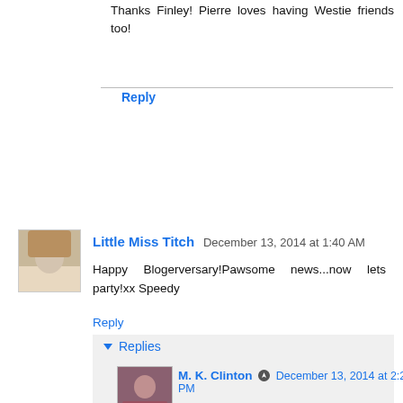Thanks Finley! Pierre loves having Westie friends too!
Reply
Little Miss Titch  December 13, 2014 at 1:40 AM
Happy Blogerversary!Pawsome news...now lets party!xx Speedy
Reply
Replies
M. K. Clinton  December 13, 2014 at 2:25 PM
Let's get this party started! Where is Ruby? She is always good for some 'Ritas! Thanks for stopping by to see us!
Reply